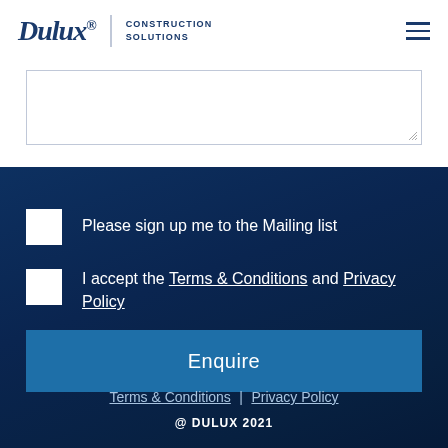[Figure (logo): Dulux Construction Solutions logo with hamburger menu icon]
Please sign up me to the Mailing list
I accept the Terms & Conditions and Privacy Policy
Enquire
Terms & Conditions | Privacy Policy
@ DULUX 2021